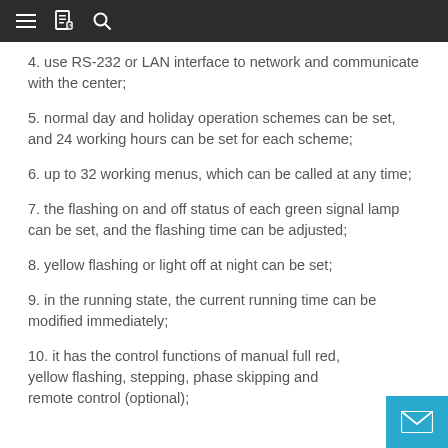Navigation bar with menu, document, and search icons
4. use RS-232 or LAN interface to network and communicate with the center;
5. normal day and holiday operation schemes can be set, and 24 working hours can be set for each scheme;
6. up to 32 working menus, which can be called at any time;
7. the flashing on and off status of each green signal lamp can be set, and the flashing time can be adjusted;
8. yellow flashing or light off at night can be set;
9. in the running state, the current running time can be modified immediately;
10. it has the control functions of manual full red, yellow flashing, stepping, phase skipping and remote control (optional);